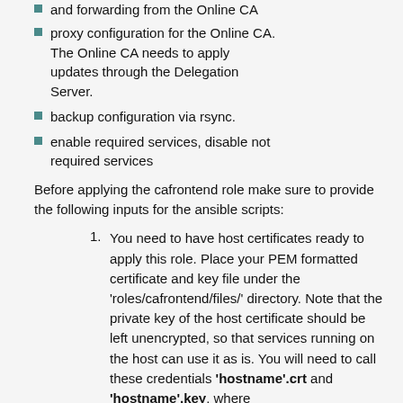and forwarding from the Online CA
proxy configuration for the Online CA. The Online CA needs to apply updates through the Delegation Server.
backup configuration via rsync.
enable required services, disable not required services
Before applying the cafrontend role make sure to provide the following inputs for the ansible scripts:
You need to have host certificates ready to apply this role. Place your PEM formatted certificate and key file under the 'roles/cafrontend/files/' directory. Note that the private key of the host certificate should be left unencrypted, so that services running on the host can use it as is. You will need to call these credentials 'hostname'.crt and 'hostname'.key, where